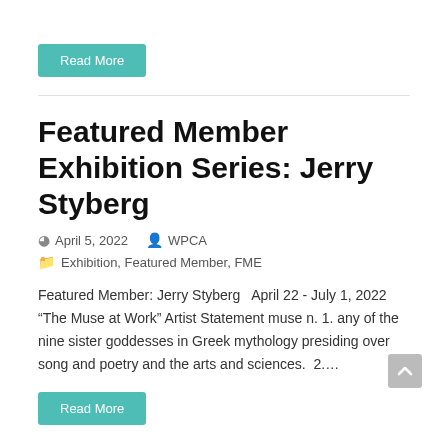Read More
Featured Member Exhibition Series: Jerry Styberg
April 5, 2022   WPCA
Exhibition, Featured Member, FME
Featured Member: Jerry Styberg   April 22 - July 1, 2022 “The Muse at Work” Artist Statement muse n. 1. any of the nine sister goddesses in Greek mythology presiding over song and poetry and the arts and sciences.  2....
Read More